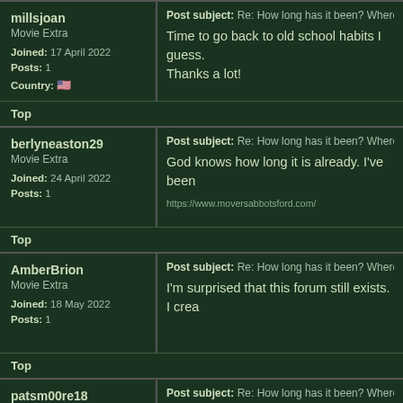millsjoan
Movie Extra
Joined: 17 April 2022
Posts: 1
Country: [US flag]
Post subject: Re: How long has it been? Where do I go to
Time to go back to old school habits I guess.
Thanks a lot!
Top
berlyneaston29
Movie Extra
Joined: 24 April 2022
Posts: 1
Post subject: Re: How long has it been? Where do I go to
God knows how long it is already. I've been
https://www.moversabbotsford.com/
Top
AmberBrion
Movie Extra
Joined: 18 May 2022
Posts: 1
Post subject: Re: How long has it been? Where do I go to
I'm surprised that this forum still exists. I crea
Top
patsm00re18
Post subject: Re: How long has it been? Where do I go to